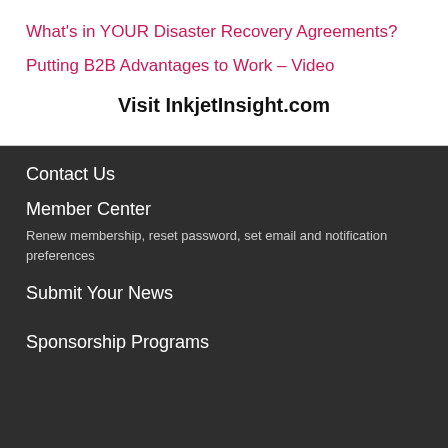What's in YOUR Disaster Recovery Agreements?
Putting B2B Advantages to Work – Video
Visit InkjetInsight.com
Contact Us
Member Center
Renew membership, reset password, set email and notification preferences
Submit Your News
Sponsorship Programs